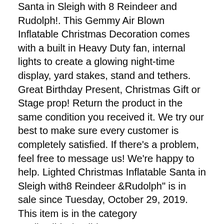Santa in Sleigh with 8 Reindeer and Rudolph!. This Gemmy Air Blown Inflatable Christmas Decoration comes with a built in Heavy Duty fan, internal lights to create a glowing night-time display, yard stakes, stand and tethers. Great Birthday Present, Christmas Gift or Stage prop! Return the product in the same condition you received it. We try our best to make sure every customer is completely satisfied. If there's a problem, feel free to message us! We're happy to help. Lighted Christmas Inflatable Santa in Sleigh with8 Reindeer &Rudolph" is in sale since Tuesday, October 29, 2019. This item is in the category "Collectibles\Holiday & Seasonal\Christmas\Current (1991-Now)\Yard Décor". The seller is "nonstop-shop" and is located in Phoenix, AZ. This item can be shipped to United States, Canada, United Kingdom, Denmark, Romania, Slovakia, Bulgaria, Czech republic, Finland, Hungary, Latvia, Lithuania, Malta, Estonia, Australia, Greece, Portugal, Cyprus, Slovenia, Japan,